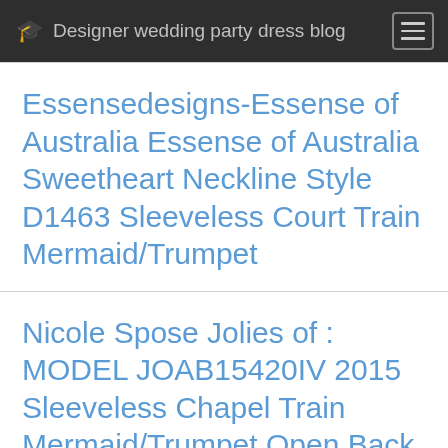Designer wedding party dress blog
Essensedesigns-Essense of Australia Essense of Australia Sweetheart Neckline Style D1463 Sleeveless Court Train Mermaid/Trumpet
Nicole Spose Jolies of : MODEL JOAB15420IV 2015 Sleeveless Chapel Train Mermaid/Trumpet Open Back